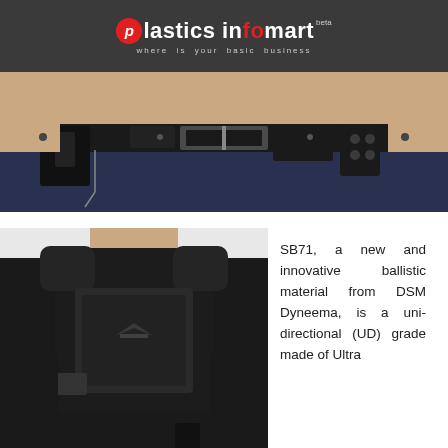Plastics Infomart
[Figure (photo): Close-up photo of a police officer's belt/waist area showing duty belt with holster, handcuffs, and equipment in black leather]
[Figure (photo): Person wearing a black ballistic/bulletproof vest over a black t-shirt, shown from the torso up]
SB71, a new and innovative ballistic material from DSM Dyneema, is a uni-directional (UD) grade made of Ultra